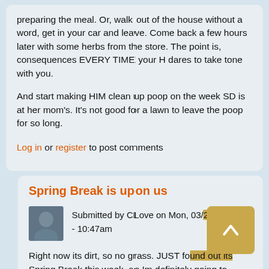preparing the meal. Or, walk out of the house without a word, get in your car and leave. Come back a few hours later with some herbs from the store. The point is, consequences EVERY TIME your H dares to take tone with you.
And start making HIM clean up poop on the week SD is at her mom's. It's not good for a lawn to leave the poop for so long.
Log in or register to post comments
Spring Break is upon us
Submitted by CLove on Mon, 03/21/2022 - 10:47am
Right now its dirt, so no grass. JUST found out its Spring Break this week, so Im definitely going to